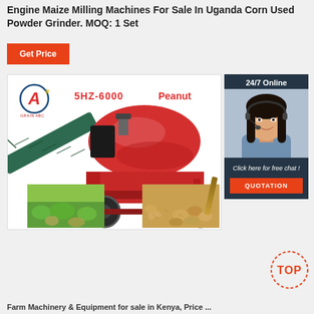Engine Maize Milling Machines For Sale In Uganda Corn Used Powder Grinder. MOQ: 1 Set
Get Price
[Figure (photo): Agricultural peanut thresher/harvester machine (model 5HZ-6000) with red drum body, green conveyor, and wheeled frame. Brand logo with letter A in circle visible top-left. Two thumbnail images below showing peanut plants in field and harvested peanuts.]
[Figure (photo): Customer service representative with headset smiling, with 24/7 Online text overlay, chat button, and QUOTATION orange button]
24/7 Online
Click here for free chat !
QUOTATION
Farm Machinery & Equipment for sale in Kenya, Price ...